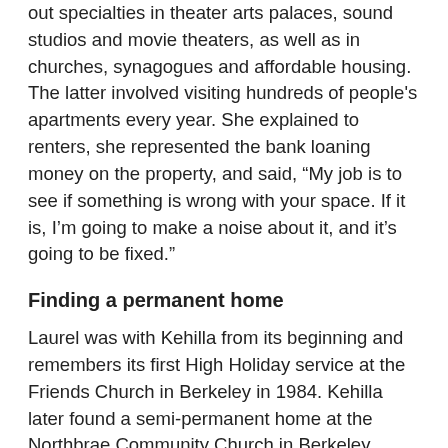out specialties in theater arts palaces, sound studios and movie theaters, as well as in churches, synagogues and affordable housing. The latter involved visiting hundreds of people's apartments every year. She explained to renters, she represented the bank loaning money on the property, and said, “My job is to see if something is wrong with your space. If it is, I’m going to make a noise about it, and it’s going to be fixed.”
Finding a permanent home
Laurel was with Kehilla from its beginning and remembers its first High Holiday service at the Friends Church in Berkeley in 1984. Kehilla later found a semi-permanent home at the Northbrae Community Church in Berkeley.
Part of Kehilla’s dynamic quality, and a large measure of its own identity, was in not having a building of its own.